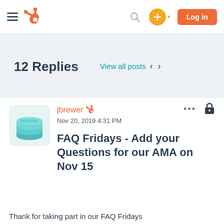HubSpot Community navigation bar with hamburger menu, HubSpot logo, search icon, plus button, and Log in button
12 Replies
View all posts < >
[Figure (illustration): User avatar showing a stylized teal/blue coin stack graphic]
jbrewer [HubSpot icon] ... [lock icon]
Nov 20, 2019 4:31 PM
FAQ Fridays - Add your Questions for our AMA on Nov 15
Thank for taking part in our FAQ Fridays...